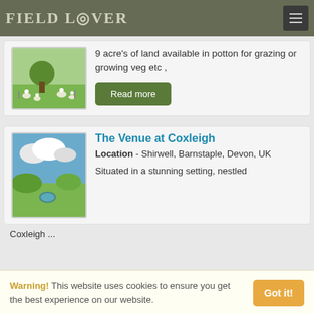FIELD LOVER
[Figure (photo): Field with flowers and a tree illustration]
9 acre's of land available in potton for grazing or growing veg etc ,
Read more
[Figure (photo): Green hills with clouds and a pond in Devon countryside]
The Venue at Coxleigh
Location - Shirwell, Barnstaple, Devon, UK
Situated in a stunning setting, nestled
Coxleigh ...
Warning! This website uses cookies to ensure you get the best experience on our website.
Got it!